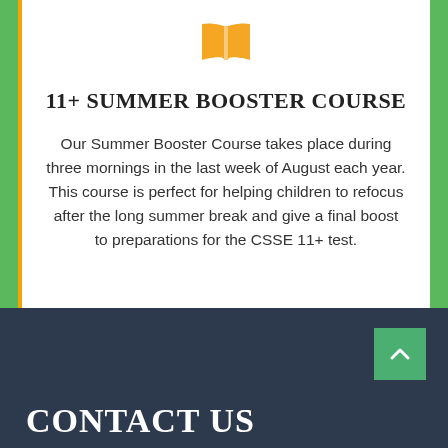[Figure (illustration): Orange/yellow open book icon]
11+ SUMMER BOOSTER COURSE
Our Summer Booster Course takes place during three mornings in the last week of August each year. This course is perfect for helping children to refocus after the long summer break and give a final boost to preparations for the CSSE 11+ test.
CONTACT US